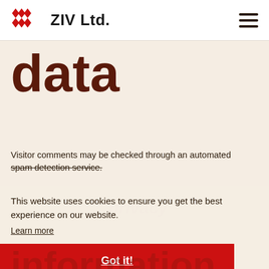ZIV Ltd.
data
Visitor comments may be checked through an automated spam detection service.
This website uses cookies to ensure you get the best experience on our website.
Learn more
Got it!